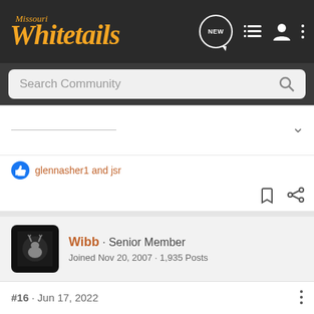[Figure (screenshot): Missouri Whitetails forum website screenshot showing navigation bar, search bar, a collapsed post with likes, a user card for Wibb (Senior Member, Joined Nov 20, 2007, 1,935 Posts), post #16 dated Jun 17, 2022 with text '.243! FTW', and a Chevrolet Silverado 2022 advertisement at the bottom.]
Missouri Whitetails
glennasher1 and jsr
Wibb · Senior Member
Joined Nov 20, 2007 · 1,935 Posts
#16 · Jun 17, 2022
.243! FTW
[Figure (photo): Advertisement: THE NEW 2022 SILVERADO. Chevrolet truck ad with Explore button.]